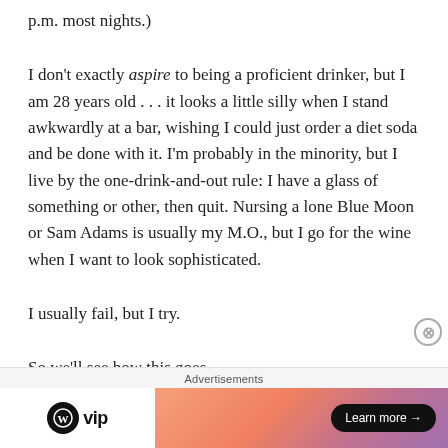p.m. most nights.)
I don't exactly aspire to being a proficient drinker, but I am 28 years old . . . it looks a little silly when I stand awkwardly at a bar, wishing I could just order a diet soda and be done with it. I'm probably in the minority, but I live by the one-drink-and-out rule: I have a glass of something or other, then quit. Nursing a lone Blue Moon or Sam Adams is usually my M.O., but I go for the wine when I want to look sophisticated.
I usually fail, but I try.
So we'll see how this goes.
[Figure (other): Advertisement banner with WordPress VIP logo on the left and an orange-pink gradient ad with a 'Learn more' button on the right. A close (X) button appears in the top-right corner of the ad overlay.]